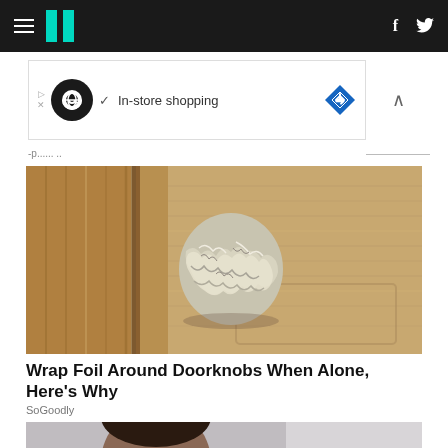HuffPost navigation with hamburger menu, logo, Facebook and Twitter icons
[Figure (other): Advertisement banner with infinity loop icon, checkmark, 'In-store shopping' text, blue diamond navigation icon, and chevron]
Sponsored
[Figure (photo): Close-up photo of a door knob wrapped in crumpled aluminum foil against a beige/tan wood-grain door]
Wrap Foil Around Doorknobs When Alone, Here's Why
SoGoodly
[Figure (photo): Partial photo showing a person's face at bottom of page]